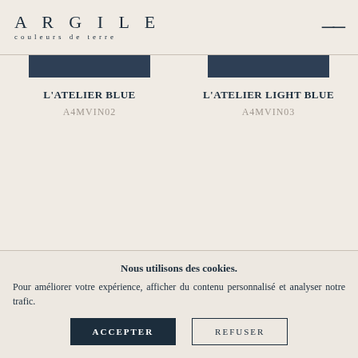ARGILE couleurs de terre
L'ATELIER BLUE
A4MVIN02
L'ATELIER LIGHT BLUE
A4MVIN03
Nous utilisons des cookies. Pour améliorer votre expérience, afficher du contenu personnalisé et analyser notre trafic.
ACCEPTER
REFUSER